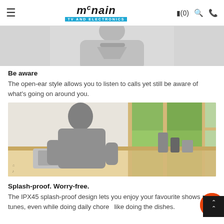McNain TV and Electronics - navigation bar with cart, search, and phone icons
[Figure (photo): Cropped photo showing a person wearing a grey hoodie with a neck-worn speaker/headphone device]
Be aware
The open-ear style allows you to listen to calls yet still be aware of what's going on around you.
[Figure (photo): Man in grey sweater smiling in a modern kitchen with sink, coffee equipment, and green trees visible through window]
Splash-proof. Worry-free.
The IPX45 splash-proof design lets you enjoy your favourite shows and tunes, even while doing daily chores like doing the dishes.